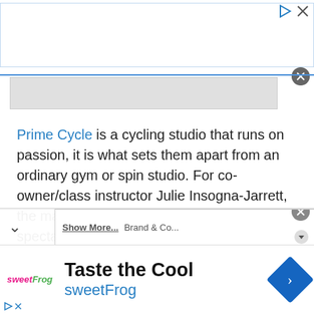[Figure (screenshot): Top advertisement banner area with blue border, play and close buttons, gray dismiss circle, and a gray content band below]
Prime Cycle is a cycling studio that runs on passion, it is what sets them apart from an ordinary gym or spin studio. For co-owner/class instructor Julie Insogna-Jarrett, the magic stemmed from years of enjoying spectacular cycling classes all over the New York metropolitan area, hoping to one day...
[Figure (screenshot): Partially visible overlay bar with chevron down arrow and a partial ad with close button]
[Figure (screenshot): Bottom advertisement banner for sweetFrog with 'Taste the Cool' headline, sweetFrog logo, brand name in blue, and blue diamond arrow icon]